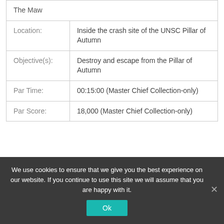| The Maw |  |
| Location: | Inside the crash site of the UNSC Pillar of Autumn |
| Objective(s): | Destroy and escape from the Pillar of Autumn |
| Par Time: | 00:15:00 (Master Chief Collection-only) |
| Par Score: | 18,000 (Master Chief Collection-only) |
We use cookies to ensure that we give you the best experience on our website. If you continue to use this site we will assume that you are happy with it.